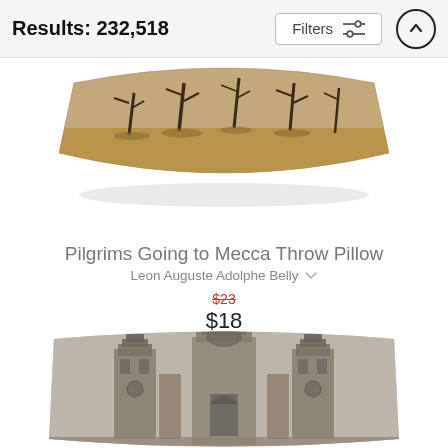Results: 232,518
Filters
[Figure (photo): Throw pillow with desert landscape and leafless trees, partial top view]
Pilgrims Going to Mecca Throw Pillow
Leon Auguste Adolphe Belly
$23 (strikethrough) $18
[Figure (photo): Throw pillow with ornate church towers in sepia/grayscale, partial bottom view]